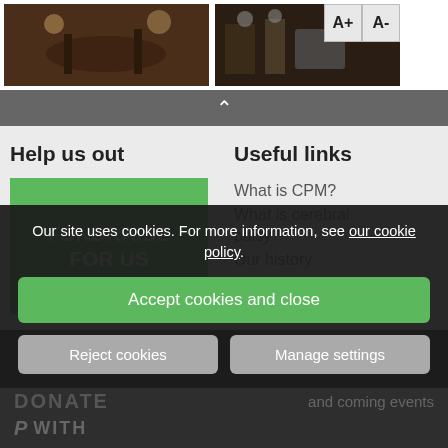[Figure (photo): Photo of a dance floor or event venue with wooden floors and stage lighting, partially visible at top of page]
[Figure (photo): Photo of a music performance or event with people and equipment visible; font size buttons A+ and A- overlaid in top right]
Help us out
[Figure (other): Green button with white text: FUNDRAISE FOR US]
Useful links
What is CPM?
What is cerebral palsy?
Our history
Our site uses cookies. For more information, see our cookie policy.
Accept cookies and close
Reject cookies
Manage settings